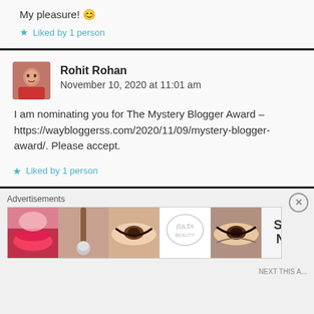My pleasure! 😊
Liked by 1 person
Rohit Rohan
November 10, 2020 at 11:01 am
I am nominating you for The Mystery Blogger Award – https://waybloggerss.com/2020/11/09/mystery-blogger-award/. Please accept.
Liked by 1 person
Advertisements
[Figure (photo): Ulta Beauty advertisement banner with cosmetics imagery]